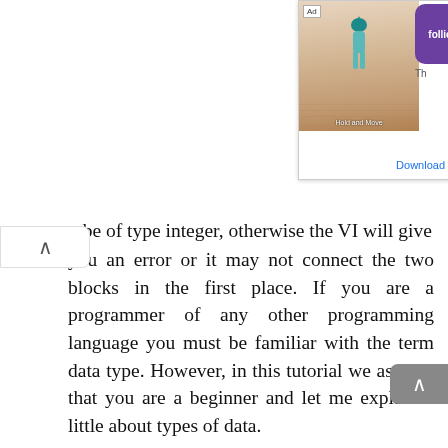[Figure (other): Advertisement banner showing a mobile game 'Hold and Move' with Follic app icon and Download button]
o be of type integer, otherwise the VI will give you an error or it may not connect the two blocks in the first place. If you are a programmer of any other programming language you must be familiar with the term data type. However, in this tutorial we assume that you are a beginner and let me explain a little about types of data.

In programming the most common data types are Integer, Float, Boolean, Double, Array, and String. Whereas, in LabView, an addition data types namely waveform and errors are also introduced. Each data type has a specific type of data stored in it, i.e. an integer type